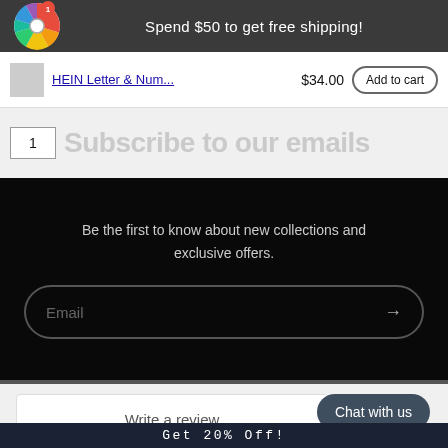Spend $50 to get free shipping!
HEIN Letter & Num...  $34.00  Add to cart
Subscribe to our emails
Be the first to know about new collections and exclusive offers.
Email →
Write a review
Chat with us
Get 20% Off!